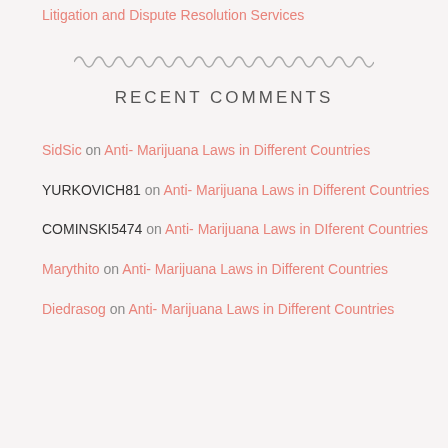Litigation and Dispute Resolution Services
RECENT COMMENTS
SidSic on Anti- Marijuana Laws in Different Countries
YURKOVICH81 on Anti- Marijuana Laws in Different Countries
COMINSKI5474 on Anti- Marijuana Laws in DIferent Countries
Marythito on Anti- Marijuana Laws in Different Countries
Diedrasog on Anti- Marijuana Laws in Different Countries